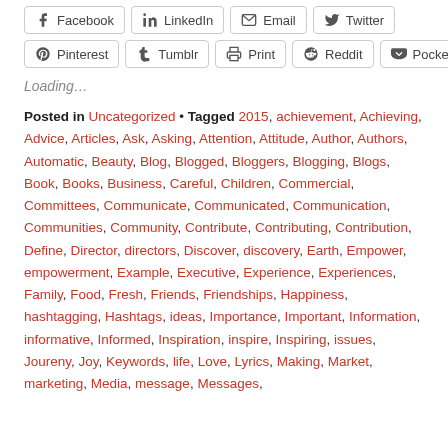[Figure (infographic): Row of social share buttons: Facebook, LinkedIn, Email, Twitter]
[Figure (infographic): Row of social share buttons: Pinterest, Tumblr, Print, Reddit, Pocket]
Loading...
Posted in Uncategorized • Tagged 2015, achievement, Achieving, Advice, Articles, Ask, Asking, Attention, Attitude, Author, Authors, Automatic, Beauty, Blog, Blogged, Bloggers, Blogging, Blogs, Book, Books, Business, Careful, Children, Commercial, Committees, Communicate, Communicated, Communication, Communities, Community, Contribute, Contributing, Contribution, Define, Director, directors, Discover, discovery, Earth, Empower, empowerment, Example, Executive, Experience, Experiences, Family, Food, Fresh, Friends, Friendships, Happiness, hashtagging, Hashtags, ideas, Importance, Important, Information, informative, Informed, Inspiration, inspire, Inspiring, issues, Joureny, Joy, Keywords, life, Love, Lyrics, Making, Market, marketing, Media, message, Messages,